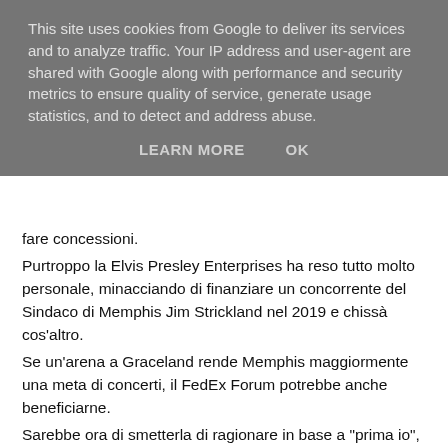This site uses cookies from Google to deliver its services and to analyze traffic. Your IP address and user-agent are shared with Google along with performance and security metrics to ensure quality of service, generate usage statistics, and to detect and address abuse.
LEARN MORE    OK
fare concessioni.
Purtroppo la Elvis Presley Enterprises ha reso tutto molto personale, minacciando di finanziare un concorrente del Sindaco di Memphis Jim Strickland nel 2019 e chissà cos'altro.
Se un'arena a Graceland rende Memphis maggiormente una meta di concerti, il FedEx Forum potrebbe anche beneficiarne.
Sarebbe ora di smetterla di ragionare in base a "prima io", ma ragionare in base a "prima Memphis".
Source: The Commercial Appeal
GrazieElvis